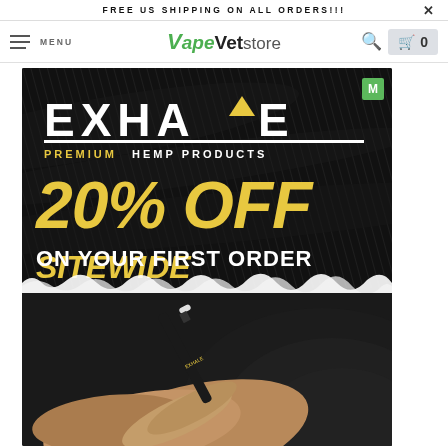FREE US SHIPPING ON ALL ORDERS!!!
[Figure (logo): VapeVet Store navigation logo with menu, search, and cart icons]
[Figure (advertisement): Exhale Premium Hemp Products advertisement - 20% OFF SITEWIDE ON YOUR FIRST ORDER, showing person holding a vape pen]